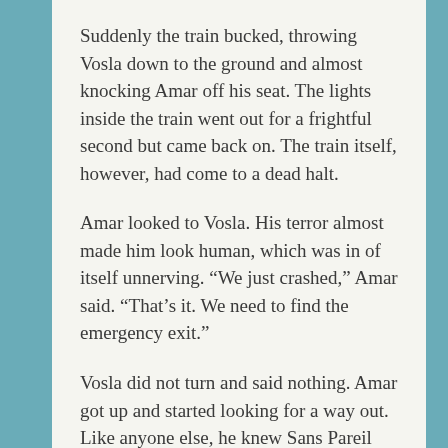Suddenly the train bucked, throwing Vosla down to the ground and almost knocking Amar off his seat. The lights inside the train went out for a frightful second but came back on. The train itself, however, had come to a dead halt.
Amar looked to Vosla. His terror almost made him look human, which was in of itself unnerving. “We just crashed,” Amar said. “That’s it. We need to find the emergency exit.”
Vosla did not turn and said nothing. Amar got up and started looking for a way out. Like anyone else, he knew Sans Pareil was powerful, even by superhuman standards, but he was not ready to believe that he somehow figured out where they were so quickly.
Amar was about to step into the next car when he was startled by the shrieking sound of metal and plastic being torn like paper. He did not need to